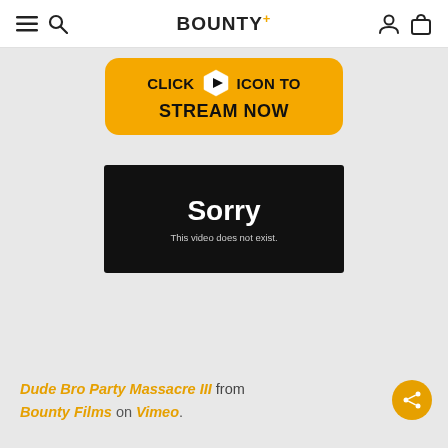BOUNTY+
[Figure (infographic): Orange rounded rectangle banner with text CLICK [play icon] ICON TO STREAM NOW in bold black]
[Figure (screenshot): Black video player box showing error: Sorry - This video does not exist.]
Dude Bro Party Massacre III from Bounty Films on Vimeo.